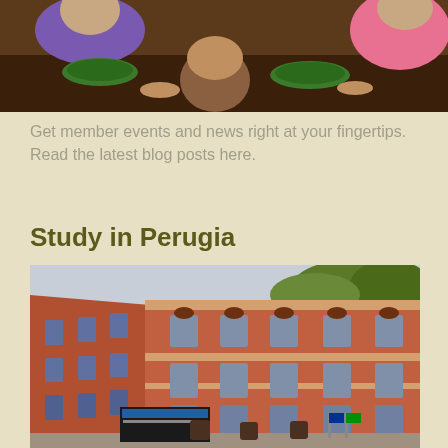[Figure (photo): People sitting at a table eating food, with green plates and drinks visible]
Get member events and news right at your fingertips. Read the latest blog posts here.
Study in Perugia
[Figure (photo): A large historic red-brick building in Perugia, Italy, photographed from street level at an angle]